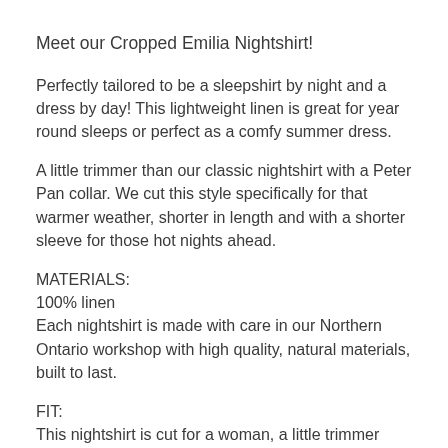Meet our Cropped Emilia Nightshirt!
Perfectly tailored to be a sleepshirt by night and a dress by day! This lightweight linen is great for year round sleeps or perfect as a comfy summer dress.
A little trimmer than our classic nightshirt with a Peter Pan collar. We cut this style specifically for that warmer weather, shorter in length and with a shorter sleeve for those hot nights ahead.
MATERIALS:
100% linen
Each nightshirt is made with care in our Northern Ontario workshop with high quality, natural materials, built to last.
FIT:
This nightshirt is cut for a woman, a little trimmer than the Classic fit with a Peter Pan collar. Slimmer through the shoulder and armhole, with a more feminine shape but still